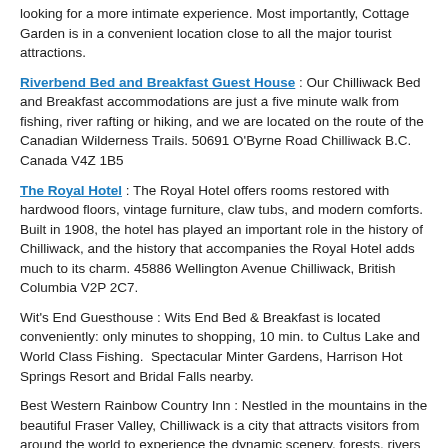looking for a more intimate experience. Most importantly, Cottage Garden is in a convenient location close to all the major tourist attractions.
Riverbend Bed and Breakfast Guest House : Our Chilliwack Bed and Breakfast accommodations are just a five minute walk from fishing, river rafting or hiking, and we are located on the route of the Canadian Wilderness Trails. 50691 O'Byrne Road Chilliwack B.C. Canada V4Z 1B5
The Royal Hotel : The Royal Hotel offers rooms restored with hardwood floors, vintage furniture, claw tubs, and modern comforts. Built in 1908, the hotel has played an important role in the history of Chilliwack, and the history that accompanies the Royal Hotel adds much to its charm. 45886 Wellington Avenue Chilliwack, British Columbia V2P 2C7.
Wit's End Guesthouse : Wits End Bed & Breakfast is located conveniently: only minutes to shopping, 10 min. to Cultus Lake and World Class Fishing.  Spectacular Minter Gardens, Harrison Hot Springs Resort and Bridal Falls nearby.
Best Western Rainbow Country Inn : Nestled in the mountains in the beautiful Fraser Valley, Chilliwack is a city that attracts visitors from around the world to experience the dynamic scenery, forests, rivers and serene lakes.
Rainbow Motor Inn : Chilliwack's Original Rainbow Motor Inn, Your Home Away from Home. 45620 Yale Road V2P 2N2 Chilliwack Canada.